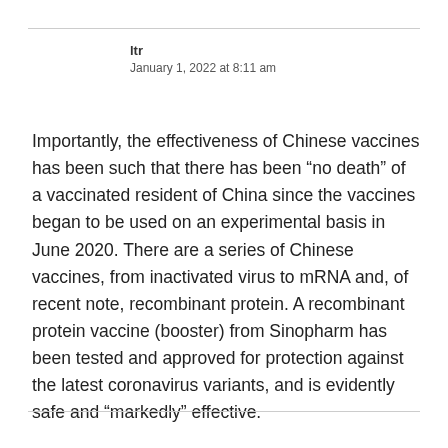ltr
January 1, 2022 at 8:11 am
Importantly, the effectiveness of Chinese vaccines has been such that there has been “no death” of a vaccinated resident of China since the vaccines began to be used on an experimental basis in June 2020. There are a series of Chinese vaccines, from inactivated virus to mRNA and, of recent note, recombinant protein. A recombinant protein vaccine (booster) from Sinopharm has been tested and approved for protection against the latest coronavirus variants, and is evidently safe and “markedly” effective.